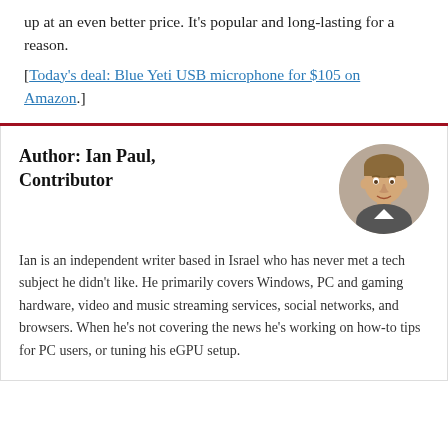up at an even better price. It's popular and long-lasting for a reason.
[Today's deal: Blue Yeti USB microphone for $105 on Amazon.]
Author: Ian Paul, Contributor
[Figure (photo): Circular headshot photo of Ian Paul, a young man smiling outdoors]
Ian is an independent writer based in Israel who has never met a tech subject he didn't like. He primarily covers Windows, PC and gaming hardware, video and music streaming services, social networks, and browsers. When he's not covering the news he's working on how-to tips for PC users, or tuning his eGPU setup.